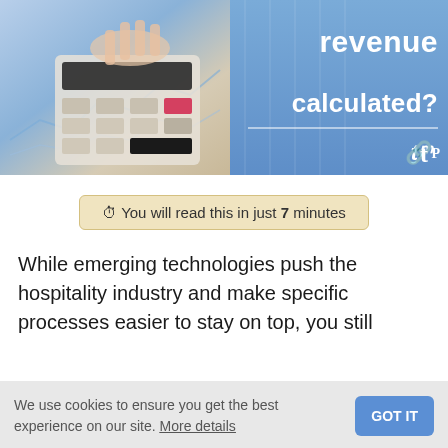[Figure (photo): Split hero image: left half shows a person's hand using a calculator with financial charts/documents, right half is a blue panel with bold white text 'revenue calculated?' and a logo icon]
⏱ You will read this in just 7 minutes
While emerging technologies push the hospitality industry and make specific processes easier to stay on top, you still
We use cookies to ensure you get the best experience on our site. More details